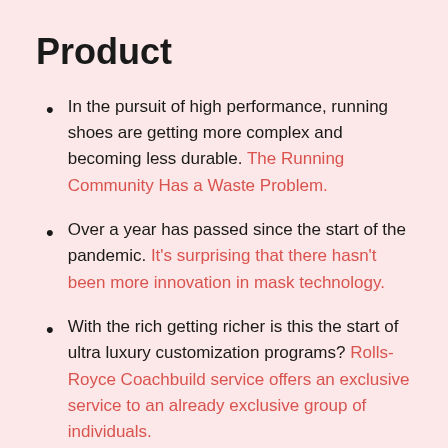Product
In the pursuit of high performance, running shoes are getting more complex and becoming less durable. The Running Community Has a Waste Problem.
Over a year has passed since the start of the pandemic. It's surprising that there hasn't been more innovation in mask technology.
With the rich getting richer is this the start of ultra luxury customization programs? Rolls-Royce Coachbuild service offers an exclusive service to an already exclusive group of individuals.